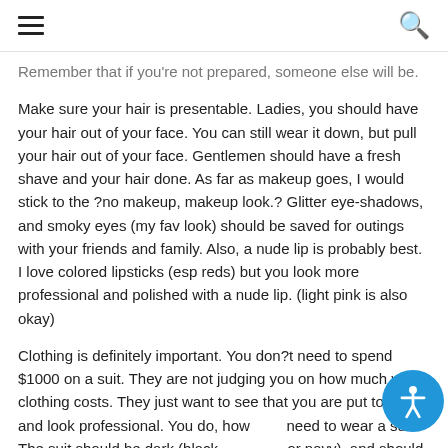≡  🔍
Remember that if you're not prepared, someone else will be.
Make sure your hair is presentable. Ladies, you should have your hair out of your face. You can still wear it down, but pull your hair out of your face. Gentlemen should have a fresh shave and your hair done. As far as makeup goes, I would stick to the ?no makeup, makeup look.? Glitter eye-shadows, and smoky eyes (my fav look) should be saved for outings with your friends and family. Also, a nude lip is probably best. I love colored lipsticks (esp reds) but you look more professional and polished with a nude lip. (light pink is also okay)
Clothing is definitely important. You don?t need to spend $1000 on a suit. They are not judging you on how much your clothing costs. They just want to see that you are put together and look professional. You do, however, need to wear a suit. The suit should be dark (black, charcoal or navy), and should fit you very well. Ladies, feel free to